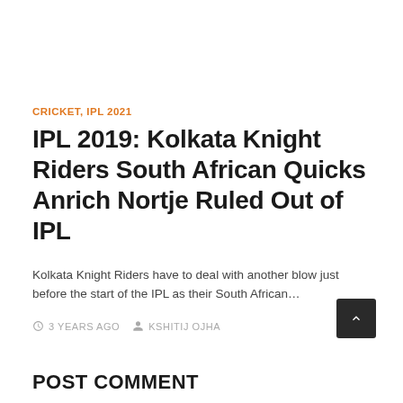CRICKET, IPL 2021
IPL 2019: Kolkata Knight Riders South African Quicks Anrich Nortje Ruled Out of IPL
Kolkata Knight Riders have to deal with another blow just before the start of the IPL as their South African…
3 YEARS AGO   KSHITIJ OJHA
POST COMMENT